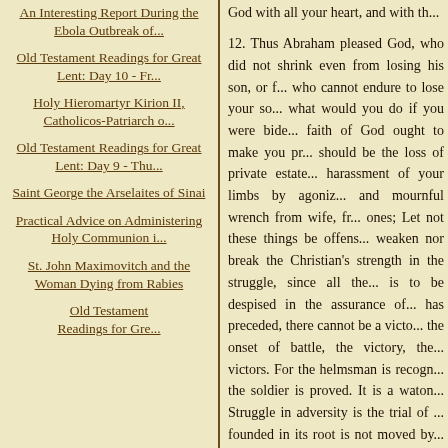An Interesting Report During the Ebola Outbreak of...
Old Testament Readings for Great Lent: Day 10 - Fr...
Holy Hieromartyr Kirion II, Catholicos-Patriarch o...
Old Testament Readings for Great Lent: Day 9 - Thu...
Saint George the Arselaites of Sinai
Practical Advice on Administering Holy Communion i...
St. John Maximovitch and the Woman Dying from Rabies
Old Testament Readings for Great...
God with all your heart, and with th... 12. Thus Abraham pleased God, who did not shrink even from losing his son, or f... who cannot endure to lose your so... what would you do if you were bide... faith of God ought to make you pr... should be the loss of private estate... harassment of your limbs by agoniz... and mournful wrench from wife, fr... ones; Let not these things be offens... weaken nor break the Christian's ... strength in the struggle, since all the... is to be despised in the assurance of... has preceded, there cannot be a victo... the onset of battle, the victory, the... victors. For the helmsman is recogn... the soldier is proved. It is a waton... Struggle in adversity is the trial of ... founded in its root is not moved by... which is compacted of solid timbers... shattered; and when the threshing-fl... and robust grains despise the winds... away by the blast that falls upon it. 13. Thus, moreover, the Apostl... scourgings, after many and grievous...